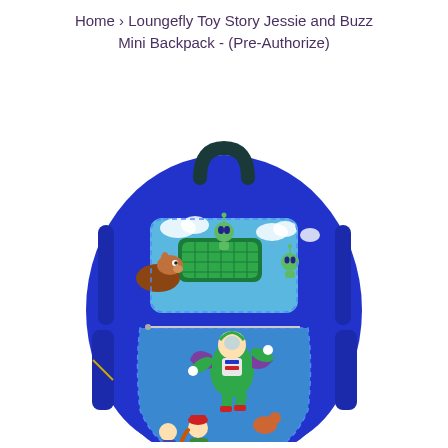Home › Loungefly Toy Story Jessie and Buzz Mini Backpack - (Pre-Authorize)
[Figure (photo): Loungefly Toy Story Jessie and Buzz Mini Backpack — a blue faux-leather mini backpack featuring illustrations of Buzz Lightyear flying with Jessie, Woody, and other Toy Story characters on the front pocket, and a front top pocket with the Little Green Men and Bullseye on a blue sky with clouds background. Dark navy handle at the top, blue body, side pocket with gold zipper visible.]